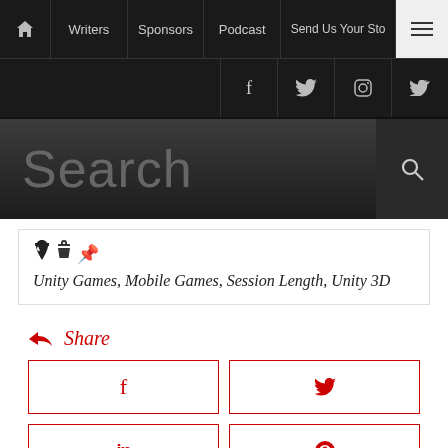Navigation bar: Home, Writers, Sponsors, Podcast, Send Us Your Story, Menu
Social icons: Facebook, Twitter, Instagram, RSS
Search
Unity Games, Mobile Games, Session Length, Unity 3D
Share
[Figure (other): Share buttons: Facebook, Twitter, LinkedIn, Reddit, Email]